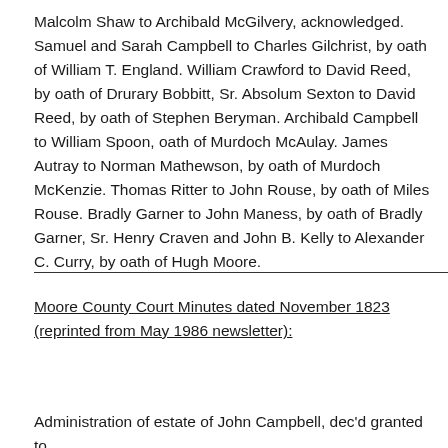Malcolm Shaw to Archibald McGilvery, acknowledged. Samuel and Sarah Campbell to Charles Gilchrist, by oath of William T. England. William Crawford to David Reed, by oath of Drurary Bobbitt, Sr. Absolum Sexton to David Reed, by oath of Stephen Beryman. Archibald Campbell to William Spoon, oath of Murdoch McAulay. James Autray to Norman Mathewson, by oath of Murdoch McKenzie. Thomas Ritter to John Rouse, by oath of Miles Rouse. Bradly Garner to John Maness, by oath of Bradly Garner, Sr. Henry Craven and John B. Kelly to Alexander C. Curry, by oath of Hugh Moore.
Moore County Court Minutes dated November 1823 (reprinted from May 1986 newsletter):
Administration of estate of John Campbell, dec'd granted to